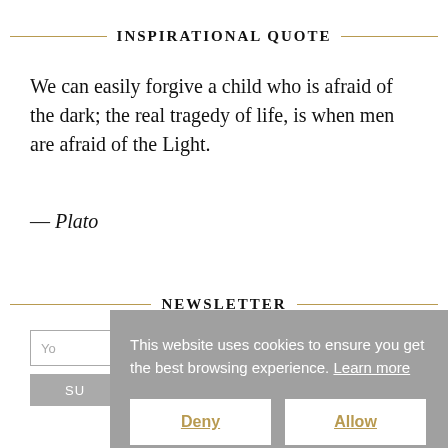INSPIRATIONAL QUOTE
We can easily forgive a child who is afraid of the dark; the real tragedy of life, is when men are afraid of the Light.
— Plato
NEWSLETTER
You
SU
This website uses cookies to ensure you get the best browsing experience. Learn more
Deny
Allow